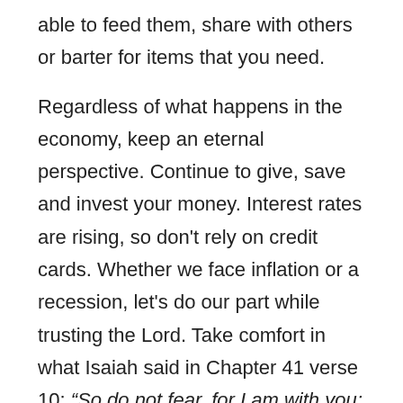able to feed them, share with others or barter for items that you need.

Regardless of what happens in the economy, keep an eternal perspective. Continue to give, save and invest your money. Interest rates are rising, so don't rely on credit cards. Whether we face inflation or a recession, let's do our part while trusting the Lord. Take comfort in what Isaiah said in Chapter 41 verse 10: “So do not fear, for I am with you; do not be dismayed, for I am your God. I will strengthen